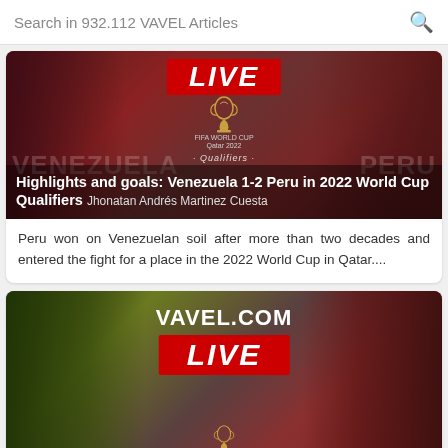Search in 932.112 VAVEL Articles
[Figure (screenshot): Article card image with red 'LIVE' banner, FIFA World Cup Qatar 2022 Qualifiers logo, two soccer players on dark red background. Caption: Highlights and goals: Venezuela 1-2 Peru in 2022 World Cup Qualifiers by Jhonatan Andrés Martinez Cuesta]
Peru won on Venezuelan soil after more than two decades and entered the fight for a place in the 2022 World Cup in Qatar....
[Figure (screenshot): Article card image with VAVEL.COM logo and red 'LIVE' banner, two soccer players on olive/dark red background]